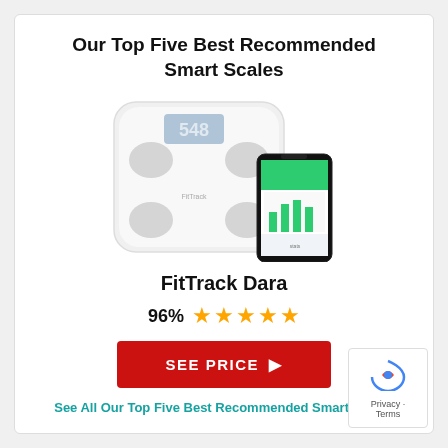Our Top Five Best Recommended Smart Scales
[Figure (photo): FitTrack Dara smart scale (white, square with rounded corners, digital display showing '548', four sensor pads) shown alongside a smartphone displaying the FitTrack app with green health dashboard]
FitTrack Dara
96% ★★★★★
SEE PRICE ▶
See All Our Top Five Best Recommended Smart Scales